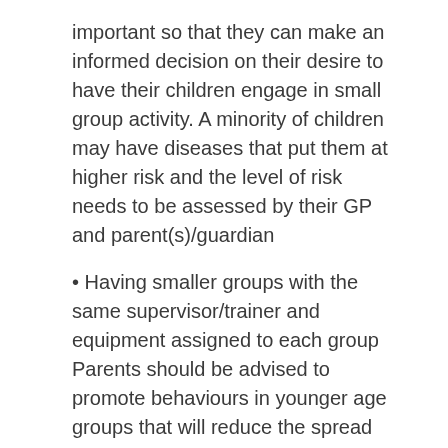important so that they can make an informed decision on their desire to have their children engage in small group activity. A minority of children may have diseases that put them at higher risk and the level of risk needs to be assessed by their GP and parent(s)/guardian
Having smaller groups with the same supervisor/trainer and equipment assigned to each group Parents should be advised to promote behaviours in younger age groups that will reduce the spread of the virus such as:
Staying at home when appropriate
Hand hygiene and respiratory etiquette